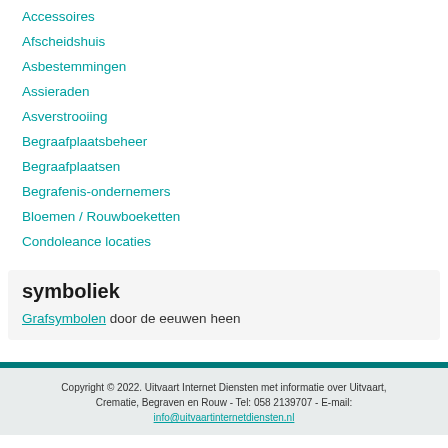Accessoires
Afscheidshuis
Asbestemmingen
Assieraden
Asverstrooiing
Begraafplaatsbeheer
Begraafplaatsen
Begrafenis-ondernemers
Bloemen / Rouwboeketten
Condoleance locaties
symboliek
Grafsymbolen door de eeuwen heen
Copyright © 2022. Uitvaart Internet Diensten met informatie over Uitvaart, Crematie, Begraven en Rouw - Tel: 058 2139707 - E-mail: info@uitvaartinternetdiensten.nl